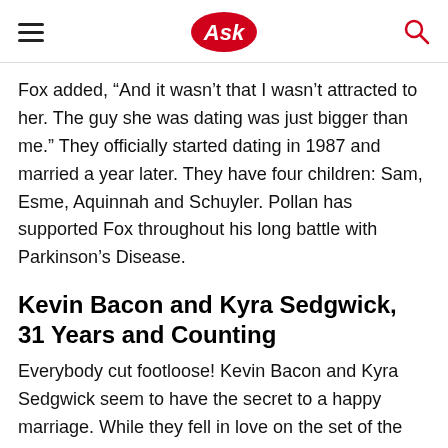Ask
Fox added, “And it wasn’t that I wasn’t attracted to her. The guy she was dating was just bigger than me.” They officially started dating in 1987 and married a year later. They have four children: Sam, Esme, Aquinnah and Schuyler. Pollan has supported Fox throughout his long battle with Parkinson’s Disease.
Kevin Bacon and Kyra Sedgwick, 31 Years and Counting
Everybody cut footloose! Kevin Bacon and Kyra Sedgwick seem to have the secret to a happy marriage. While they fell in love on the set of the 1988